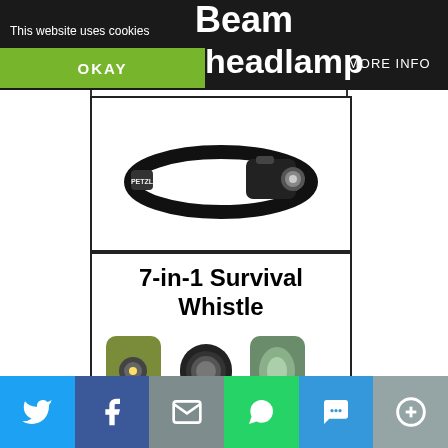This website uses cookies — Beam Headlamp — MORE INFO — OKAY
[Figure (photo): Petzl headlamp with black strap on white background]
[Figure (photo): 7-in-1 Survival Whistle product image showing components: LED light, magnifying glass, signal mirror, compass, and whistle with lanyard]
Social sharing bar: Twitter, Facebook, Email, WhatsApp, SMS, More